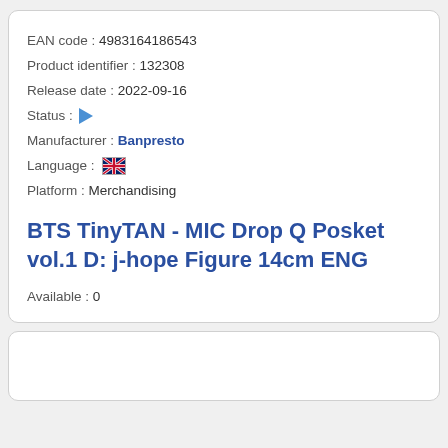EAN code :  4983164186543
Product identifier :  132308
Release date :  2022-09-16
Status :  [play icon]
Manufacturer :  Banpresto
Language :  [UK flag]
Platform :  Merchandising
BTS TinyTAN - MIC Drop Q Posket vol.1 D: j-hope Figure 14cm ENG
Available :  0